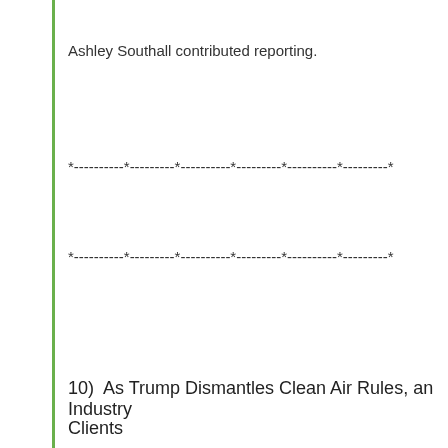Ashley Southall contributed reporting.
*----------*---------*----------*---------*----------*---------*
*----------*---------*----------*---------*----------*---------*
10)  As Trump Dismantles Clean Air Rules, an Industry Clients